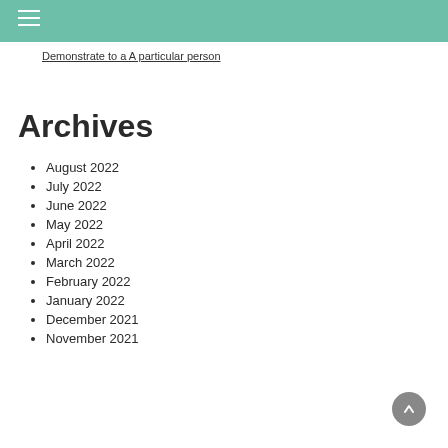Demonstrate to a A particular person
Archives
August 2022
July 2022
June 2022
May 2022
April 2022
March 2022
February 2022
January 2022
December 2021
November 2021